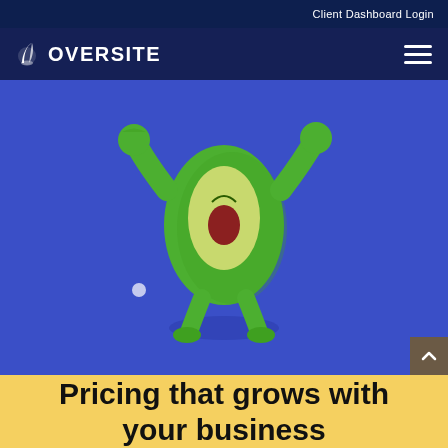Client Dashboard Login
[Figure (logo): Oversite rocket logo with text OVERSITE in white on dark navy background]
[Figure (illustration): A 3D cartoon green avocado character flexing both arms on a blue background, with a small white dot/ball on the lower left]
Pricing that grows with your business